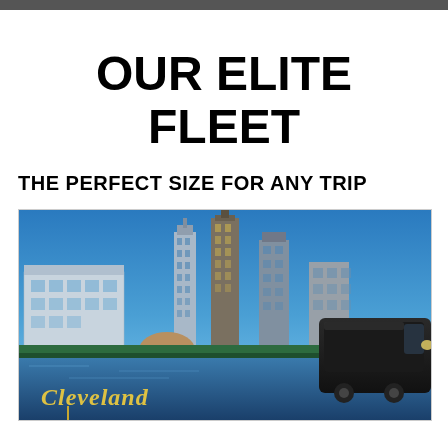OUR ELITE FLEET
THE PERFECT SIZE FOR ANY TRIP
[Figure (photo): City skyline photo of Cleveland with downtown skyscrapers in the background, water in the foreground with a Cleveland sign, and a charter bus visible on the right side of the image.]